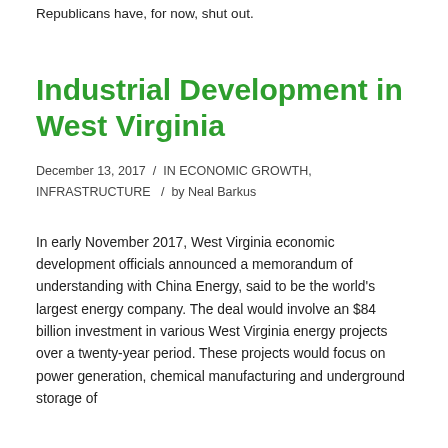Republicans have, for now, shut out.
Industrial Development in West Virginia
December 13, 2017  /  IN ECONOMIC GROWTH, INFRASTRUCTURE  /  by Neal Barkus
In early November 2017, West Virginia economic development officials announced a memorandum of understanding with China Energy, said to be the world's largest energy company. The deal would involve an $84 billion investment in various West Virginia energy projects over a twenty-year period. These projects would focus on power generation, chemical manufacturing and underground storage of